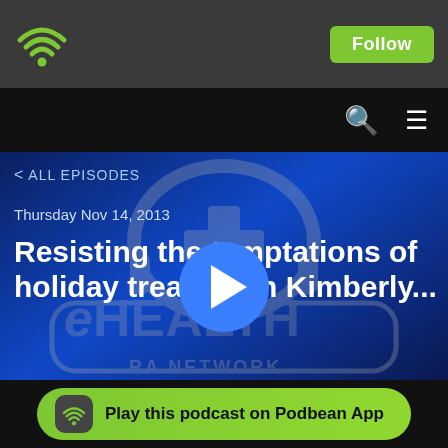[Figure (screenshot): Podbean podcast app screenshot showing top navigation bar with WiFi/podcast logo icon and green Follow button]
ALL EPISODES
Thursday Nov 14, 2013
Resisting the temptations of holiday treats with Kimberly...
[Figure (logo): eHEALTH Radio Network logo with headphones and medical cross icon]
Play this podcast on Podbean App